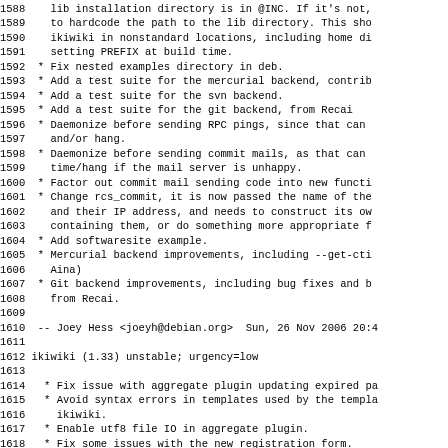1588    lib installation directory is in @INC. If it's not,
1589    to hardcode the path to the lib directory. This sho
1590    ikiwiki in nonstandard locations, including home di
1591    setting PREFIX at build time.
1592  * Fix nested examples directory in deb.
1593  * Add a test suite for the mercurial backend, contrib
1594  * Add a test suite for the svn backend.
1595  * Add a test suite for the git backend, from Recai
1596  * Daemonize before sending RPC pings, since that can
1597    and/or hang.
1598  * Daemonize before sending commit mails, as that can
1599    time/hang if the mail server is unhappy.
1600  * Factor out commit mail sending code into new functi
1601  * Change rcs_commit, it is now passed the name of the
1602    and their IP address, and needs to construct its ow
1603    containing them, or do something more appropriate f
1604  * Add softwaresite example.
1605  * Mercurial backend improvements, including --get-cti
1606    Aina)
1607  * Git backend improvements, including bug fixes and b
1608    from Recai.
1609
1610  -- Joey Hess <joeyh@debian.org>  Sun, 26 Nov 2006 20:4
1611
1612 ikiwiki (1.33) unstable; urgency=low
1613
1614   * Fix issue with aggregate plugin updating expired pa
1615   * Avoid syntax errors in templates used by the templa
1616     ikiwiki.
1617   * Enable utf8 file IO in aggregate plugin.
1618   * Fix some issues with the new registration form.
1619   * Patch from Ethan Glasser Camp to add a skip option